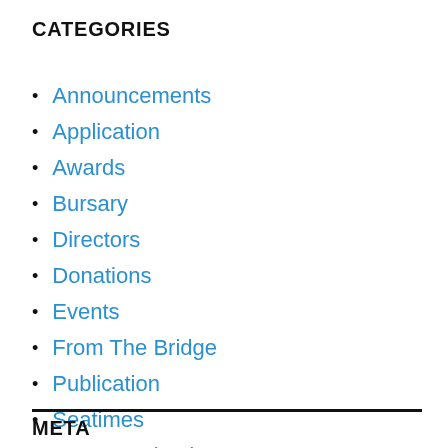CATEGORIES
Announcements
Application
Awards
Bursary
Directors
Donations
Events
From The Bridge
Publication
Seatimes
Uncategorized
META